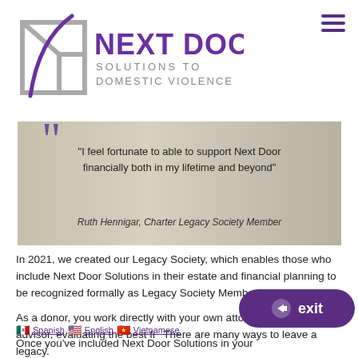[Figure (logo): Next Door Solutions to Domestic Violence logo with a stylized door graphic in grey and a purple 'NEXT DOOR' wordmark]
[Figure (photo): Quote image with a blurred background showing steps/entrance, purple quotation marks, and text: '"I feel fortunate to able to support Next Door financially both in my lifetime and beyond"' attributed to Ruth Hennigar, Charter Legacy Society Member]
In 2021, we created our Legacy Society, which enables those who include Next Door Solutions in their estate and financial planning to be recognized formally as Legacy Society Members.
As a donor, you work directly with your own attorney or financial advisor, evaluating the best fi... There are many ways to leave a legacy...
Once you've included Next Door Solutions in your